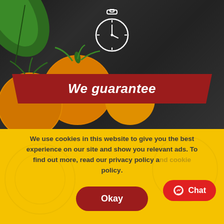[Figure (photo): Food photography background: dark wooden board texture with orange/yellow cherry tomatoes on vine at bottom-left and green leaf at top-left. A white outline stopwatch icon is centered at the top. A dark red angled banner reads 'We guarantee' in white bold italic text.]
We guarantee
We use cookies in this website to give you the best experience on our site and show you relevant ads. To find out more, read our privacy policy and cookie policy.
Chat
Okay